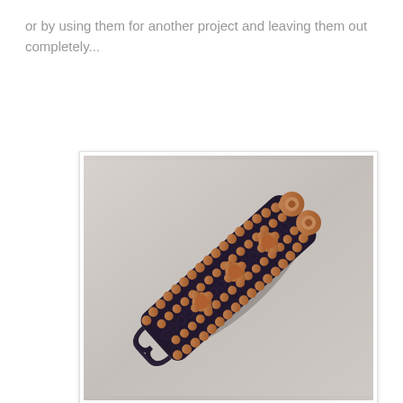or by using them for another project and leaving them out completely...
[Figure (photo): A beaded bracelet with dark navy/black beads woven together with copper-colored beads forming stripes and decorative copper flower embellishments along the center, with copper toggle clasp closures at one end and loop closures at the other end, photographed diagonally on a light gray background.]